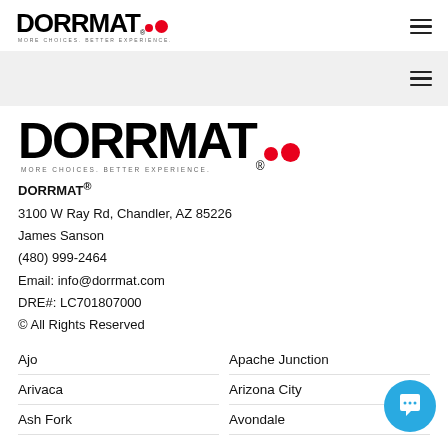[Figure (logo): DORRMAT logo with red dot and tagline MORE CHOICES. BETTER EXPERIENCE. in header]
[Figure (logo): DORRMAT large logo with registered mark, red dot and tagline MORE CHOICES. BETTER EXPERIENCE.]
DORRMAT®
3100 W Ray Rd, Chandler, AZ 85226
James Sanson
(480) 999-2464
Email: info@dorrmat.com
DRE#: LC701807000
© All Rights Reserved
Ajo
Apache Junction
Arivaca
Arizona City
Ash Fork
Avondale